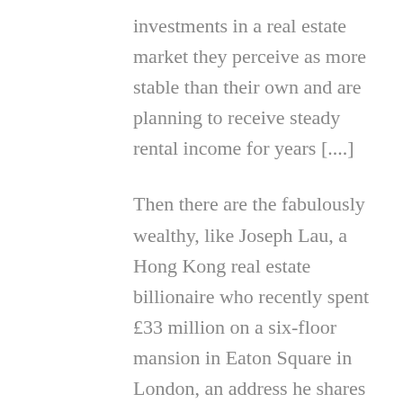investments in a real estate market they perceive as more stable than their own and are planning to receive steady rental income for years [....]

Then there are the fabulously wealthy, like Joseph Lau, a Hong Kong real estate billionaire who recently spent £33 million on a six-floor mansion in Eaton Square in London, an address he shares with the Russian oligarch Roman A. Abramovich. Mr. Lau's son, Lau Ming-wai, studied at the London School of Economics and then worked for Goldman Sachs in London. More typical, though, are Asian buyers